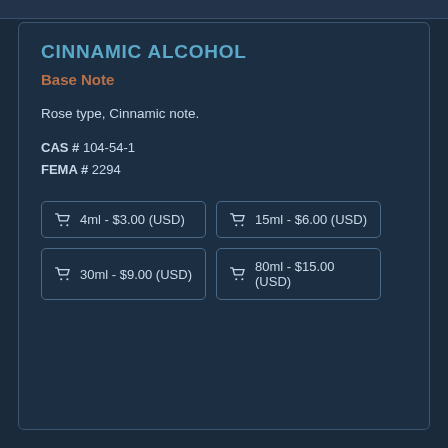CINNAMIC ALCOHOL
Base Note
Rose type, Cinnamic note.
CAS # 104-54-1
FEMA # 2294
4ml - $3.00 (USD)
15ml - $6.00 (USD)
30ml - $9.00 (USD)
80ml - $15.00 (USD)